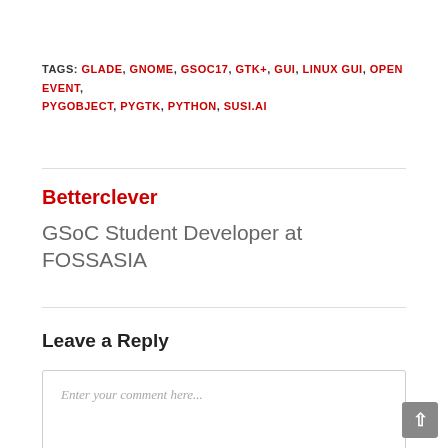TAGS: GLADE, GNOME, GSOC17, GTK+, GUI, LINUX GUI, OPEN EVENT, PYGOBJECT, PYGTK, PYTHON, SUSI.AI
Betterclever
GSoC Student Developer at FOSSASIA
Leave a Reply
Enter your comment here...